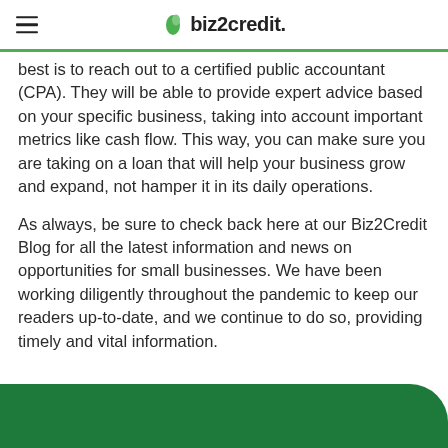biz2credit.
best is to reach out to a certified public accountant (CPA). They will be able to provide expert advice based on your specific business, taking into account important metrics like cash flow. This way, you can make sure you are taking on a loan that will help your business grow and expand, not hamper it in its daily operations.
As always, be sure to check back here at our Biz2Credit Blog for all the latest information and news on opportunities for small businesses. We have been working diligently throughout the pandemic to keep our readers up-to-date, and we continue to do so, providing timely and vital information.
[Figure (other): Green rounded banner at the bottom of the page, dark green background with top-right rounded corner.]